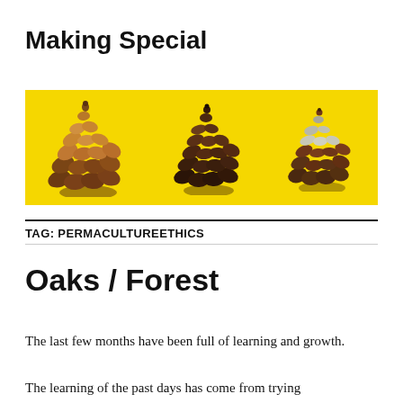Making Special
[Figure (photo): Three pine cones arranged horizontally on a bright yellow background, photographed from above. The cones vary slightly in size and shape.]
TAG: PERMACULTUREETHICS
Oaks / Forest
The last few months have been full of learning and growth.
The learning of the past days has come from trying